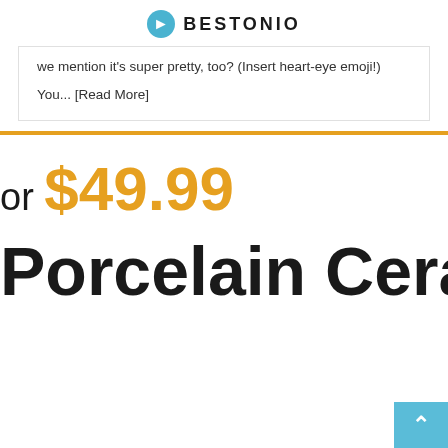BESTONIO
we mention it's super pretty, too? (Insert heart-eye emoji!)
You... [Read More]
or $49.99
Porcelain Ceram